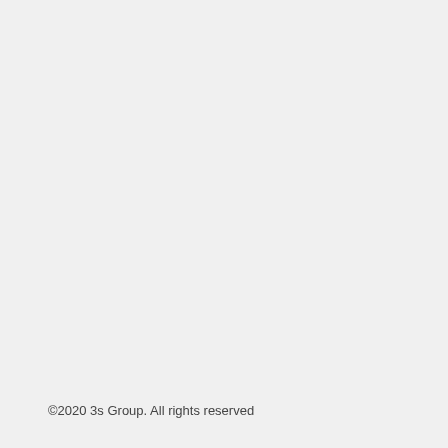©2020 3s Group. All rights reserved